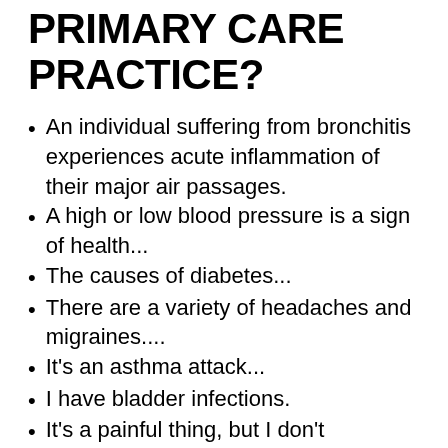PRIMARY CARE PRACTICE?
An individual suffering from bronchitis experiences acute inflammation of their major air passages.
A high or low blood pressure is a sign of health...
The causes of diabetes...
There are a variety of headaches and migraines....
It's an asthma attack...
I have bladder infections.
It's a painful thing, but I don't complain....
An in-depth analysis of the respiratory and